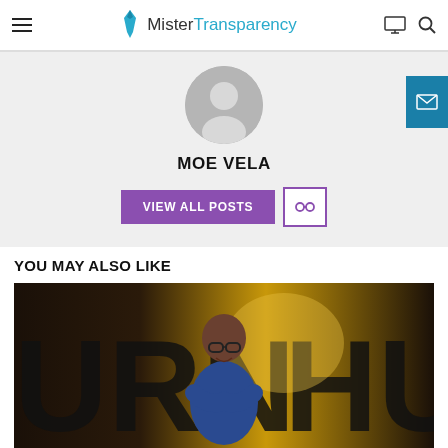MisterTransparency
[Figure (illustration): Gray default avatar silhouette circle]
MOE VELA
VIEW ALL POSTS | link icon button
YOU MAY ALSO LIKE
[Figure (photo): Man smiling with arms crossed wearing glasses and blue shirt, standing in front of large letters reading URNH... (show/TV backdrop)]